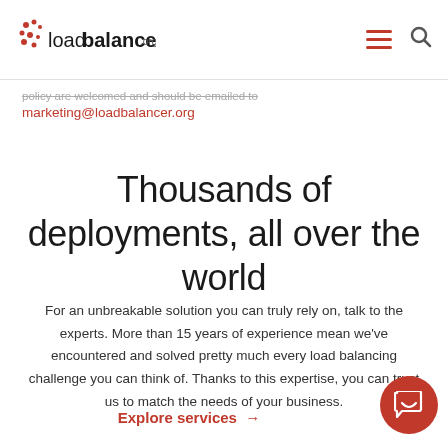loadbalancer.org
policy are welcomed and should be emailed to marketing@loadbalancer.org
Thousands of deployments, all over the world
For an unbreakable solution you can truly rely on, talk to the experts. More than 15 years of experience mean we’ve encountered and solved pretty much every load balancing challenge you can think of. Thanks to this expertise, you can trust us to match the needs of your business.
Explore services →